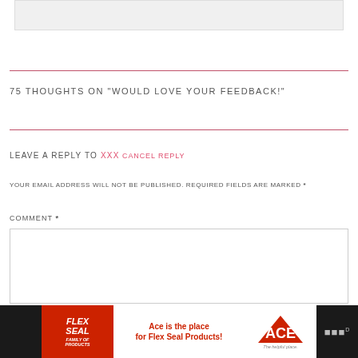[Figure (screenshot): Gray input/content box at top of page]
75 THOUGHTS ON “WOULD LOVE YOUR FEEDBACK!”
LEAVE A REPLY TO XXX CANCEL REPLY
YOUR EMAIL ADDRESS WILL NOT BE PUBLISHED. REQUIRED FIELDS ARE MARKED *
COMMENT *
[Figure (screenshot): Comment text input box]
[Figure (advertisement): Advertisement bar at bottom: Flex Seal family of products - Ace is the place for Flex Seal Products! ACE Hardware logo]